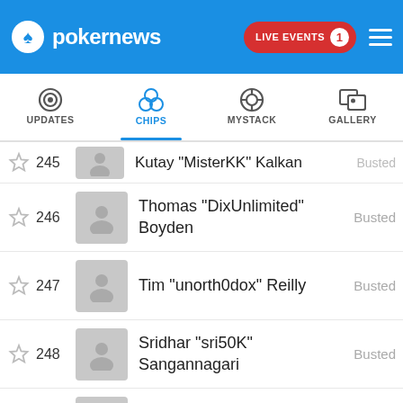pokernews — LIVE EVENTS 1
[Figure (screenshot): Navigation tabs: UPDATES, CHIPS (active/selected), MYSTACK, GALLERY]
245 Kutay 'MisterKK' Kalkan — Busted
246 Thomas 'DixUnlimited' Boyden — Busted
247 Tim 'unorth0dox' Reilly — Busted
248 Sridhar 'sri50K' Sangannagari — Busted
249 Ding Shun 'donkinchips2' Lin — Busted
250 Marvin 'mkarlins' Karlins — Busted